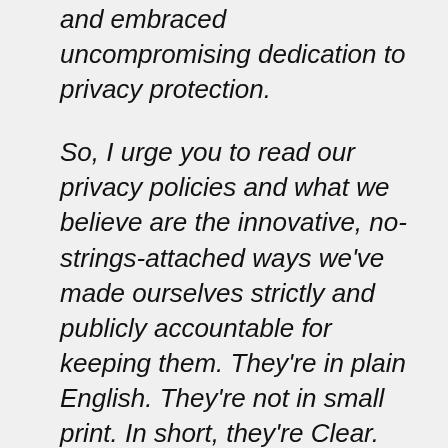and embraced uncompromising dedication to privacy protection.
So, I urge you to read our privacy policies and what we believe are the innovative, no-strings-attached ways we've made ourselves strictly and publicly accountable for keeping them. They're in plain English. They're not in small print. In short, they're Clear. And we're as proud of them as we are of anything else about Clear.
Third, we try to be obsessive about customer service. We value your business, indeed your willingness to join